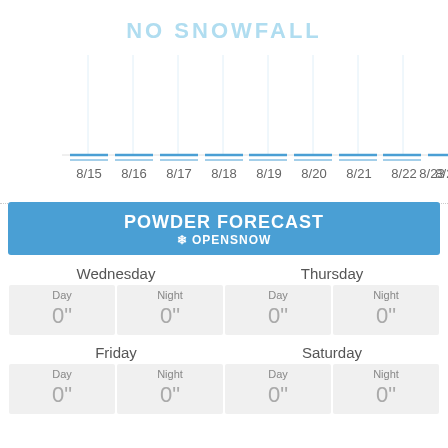[Figure (bar-chart): NO SNOWFALL]
POWDER FORECAST OPENSNOW
|  | Day | Night | Day | Night |
| --- | --- | --- | --- | --- |
| Wednesday | 0" | 0" | Thursday |  |
|  | 0" | 0" | Day Thursday | Night Thursday |
| Friday | 0" | 0" | Saturday |  |
|  | 0" | 0" | Day Saturday | Night Saturday |